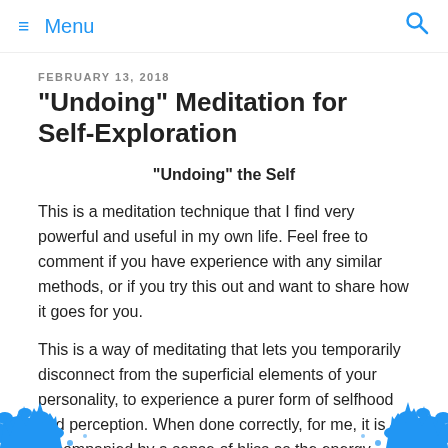≡ Menu 🔍
FEBRUARY 13, 2018
“Undoing” Meditation for Self-Exploration
“Undoing” the Self
This is a meditation technique that I find very powerful and useful in my own life. Feel free to comment if you have experience with any similar methods, or if you try this out and want to share how it goes for you.
This is a way of meditating that lets you temporarily disconnect from the superficial elements of your personality, to experience a purer form of selfhood and perception. When done correctly, for me, it is accompanied by a sense of bliss as the energy spent in maintaining these superficial characteristics is rel...